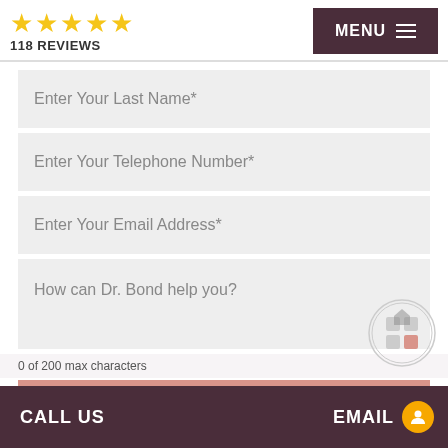[Figure (screenshot): Five gold stars rating with '118 REVIEWS' text below, and a dark purple MENU hamburger button on the right]
Enter Your Last Name*
Enter Your Telephone Number*
Enter Your Email Address*
How can Dr. Bond help you?
0 of 200 max characters
CONTACT US
CALL US
EMAIL